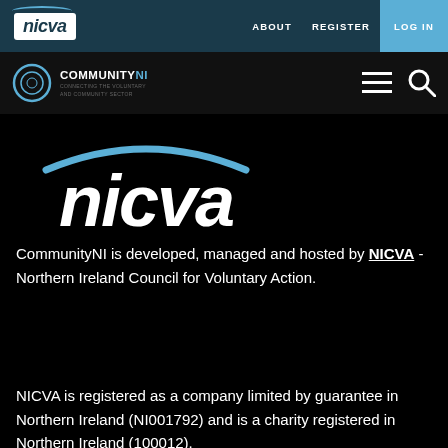[Figure (screenshot): NICVA website navigation bar with logo, ABOUT, REGISTER, LOG IN links]
[Figure (logo): CommunityNI logo with circular emblem and text, hamburger menu and search icons]
[Figure (logo): Large NICVA logo in white text with light blue arc above on black background]
CommunityNI is developed, managed and hosted by NICVA - Northern Ireland Council for Voluntary Action.
NICVA is registered as a company limited by guarantee in Northern Ireland (NI001792) and is a charity registered in Northern Ireland (100012).